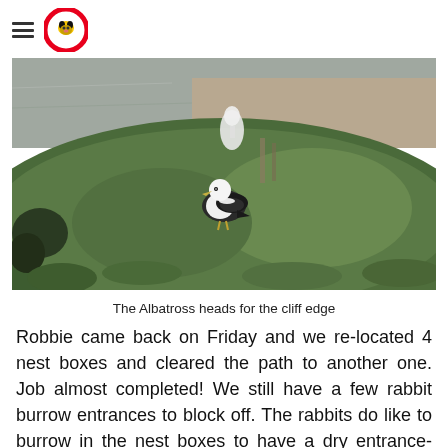[Figure (photo): A black and white seagull (albatross) standing on a grassy cliff slope with water visible in the background. A white egret or similar bird is visible in the background. Dark shrub visible on the lower left.]
The Albatross heads for the cliff edge
Robbie came back on Friday and we re-located 4 nest boxes and cleared the path to another one. Job almost completed! We still have a few rabbit burrow entrances to block off. The rabbits do like to burrow in the nest boxes to have a dry entrance-way.